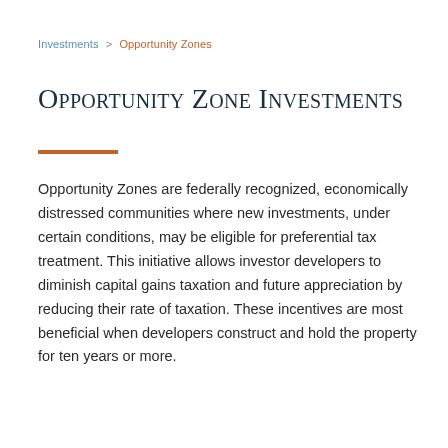Investments > Opportunity Zones
Opportunity Zone Investments
Opportunity Zones are federally recognized, economically distressed communities where new investments, under certain conditions, may be eligible for preferential tax treatment. This initiative allows investor developers to diminish capital gains taxation and future appreciation by reducing their rate of taxation. These incentives are most beneficial when developers construct and hold the property for ten years or more.